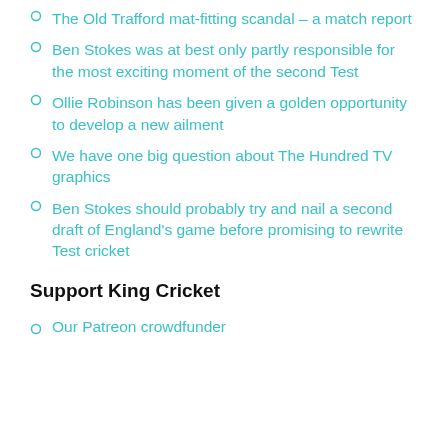The Old Trafford mat-fitting scandal – a match report
Ben Stokes was at best only partly responsible for the most exciting moment of the second Test
Ollie Robinson has been given a golden opportunity to develop a new ailment
We have one big question about The Hundred TV graphics
Ben Stokes should probably try and nail a second draft of England's game before promising to rewrite Test cricket
Support King Cricket
Our Patreon crowdfunder